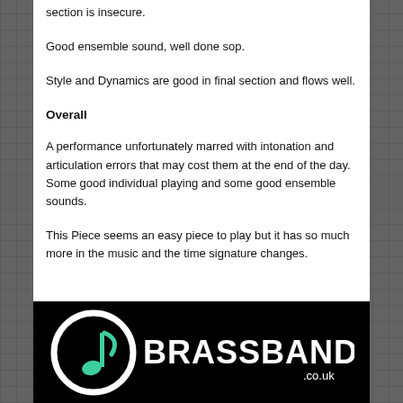section is insecure.
Good ensemble sound, well done sop.
Style and Dynamics are good in final section and flows well.
Overall
A performance unfortunately marred with intonation and articulation errors that may cost them at the end of the day. Some good individual playing and some good ensemble sounds.
This Piece seems an easy piece to play but it has so much more in the music and the time signature changes.
[Figure (logo): Brassband.co.uk logo: white circular ring with a teal/green musical note inside, followed by BRASSBAND in large white bold text and .co.uk in smaller white text, on a black background.]